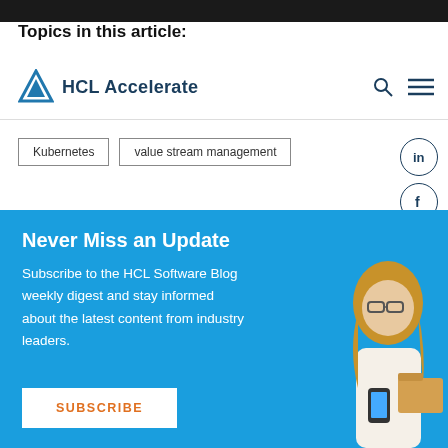Topics in this article:
[Figure (logo): HCL Accelerate logo with blue triangle icon and dark blue text]
Kubernetes
value stream management
[Figure (infographic): Blue subscription banner with heading 'Never Miss an Update', body text about HCL Software Blog weekly digest, a Subscribe button, and a woman holding a phone and folders.]